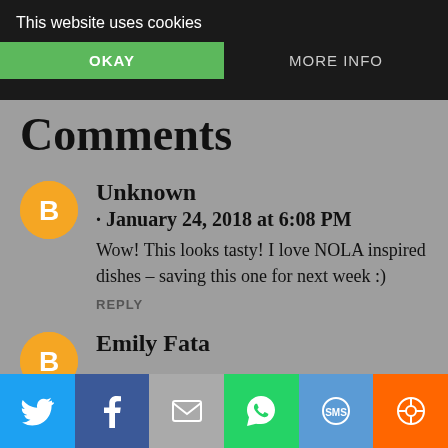This website uses cookies
OKAY
MORE INFO
Comments
Unknown
· January 24, 2018 at 6:08 PM
Wow! This looks tasty! I love NOLA inspired dishes – saving this one for next week :)
REPLY
Emily Fata